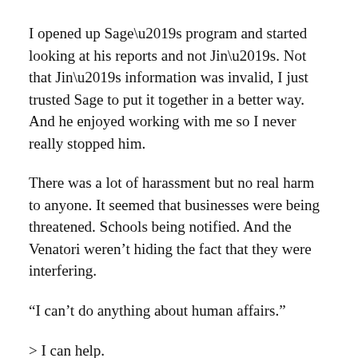I opened up Sage’s program and started looking at his reports and not Jin’s. Not that Jin’s information was invalid, I just trusted Sage to put it together in a better way. And he enjoyed working with me so I never really stopped him.
There was a lot of harassment but no real harm to anyone. It seemed that businesses were being threatened. Schools being notified. And the Venatori weren’t hiding the fact that they were interfering.
“I can’t do anything about human affairs.”
> I can help.
“Get Trix to do what you can to fix their problems. The Venatori are attacking my people in a way I can’t do anything about.”